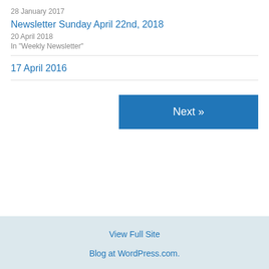28 January 2017
Newsletter Sunday April 22nd, 2018
20 April 2018
In "Weekly Newsletter"
17 April 2016
Next »
View Full Site
Blog at WordPress.com.